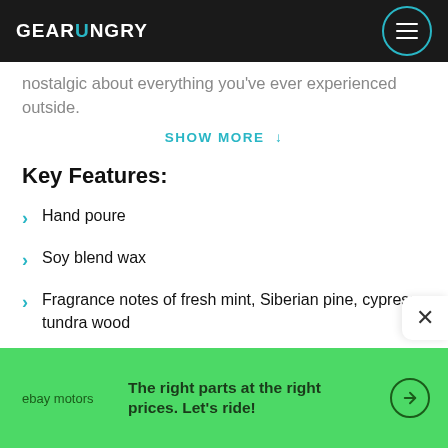GEARHUNGRY
nostalgic about everything you've ever experienced outside.
SHOW MORE ↓
Key Features:
Hand poure
Soy blend wax
Fragrance notes of fresh mint, Siberian pine, cypress, tundra wood
[Figure (screenshot): eBay Motors advertisement banner with green background. Text: 'The right parts at the right prices. Let's ride!' with arrow circle icon.]